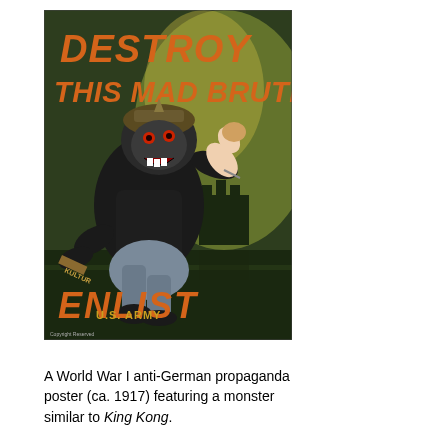[Figure (illustration): A World War I anti-German propaganda poster titled 'Destroy This Mad Brute' with 'Enlist U.S. Army' text at the bottom, featuring a menacing ape-like monster wearing a German military helmet and carrying a club labeled 'KULTUR', while holding an unconscious woman. Background shows a dark seascape with a castle silhouette.]
A World War I anti-German propaganda poster (ca. 1917) featuring a monster similar to King Kong.